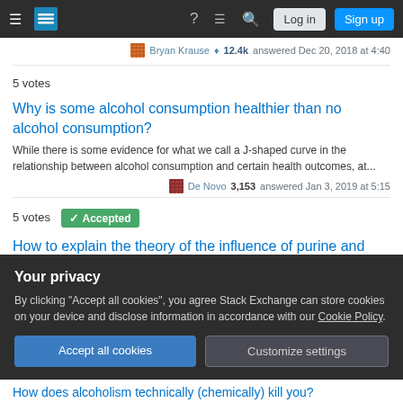[Figure (screenshot): Stack Exchange navigation bar with hamburger menu, logo, help, chat, search icons, and Log in / Sign up buttons]
Bryan Krause ♦ 12.4k answered Dec 20, 2018 at 4:40
5 votes
Why is some alcohol consumption healthier than no alcohol consumption?
While there is some evidence for what we call a J-shaped curve in the relationship between alcohol consumption and certain health outcomes, at...
De Novo 3,153 answered Jan 3, 2019 at 5:15
5 votes Accepted
How to explain the theory of the influence of purine and alcohol on the incidence of risk for gout in light of
Your privacy
By clicking "Accept all cookies", you agree Stack Exchange can store cookies on your device and disclose information in accordance with our Cookie Policy.
Accept all cookies
Customize settings
How does alcoholism technically (chemically) kill you?